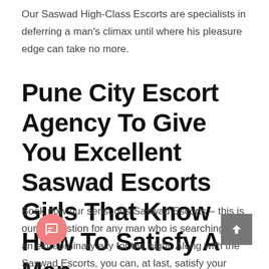Our Saswad High-Class Escorts are specialists in deferring a man's climax until where his pleasure edge can take no more.
Pune City Escort Agency To Give You Excellent Saswad Escorts Girls That Know How To Satisfy A Man
Book now our sensuous Saswad Escorts – this is our suggestion for any man who is searching for an extraordinary ally for the night. Along with the Saswad Escorts, you can, at last, satisfy your dreams and experience a special experience.